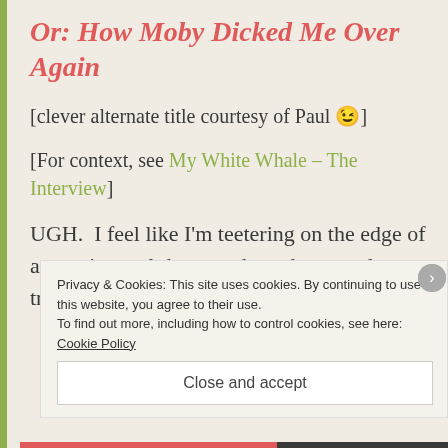Or: How Moby Dicked Me Over Again
[clever alternate title courtesy of Paul 😉]
[For context, see My White Whale – The Interview]
UGH.  I feel like I'm teetering on the edge of a massive meltdown and am desperately trying to hold myself together.  This week I
Privacy & Cookies: This site uses cookies. By continuing to use this website, you agree to their use.
To find out more, including how to control cookies, see here: Cookie Policy
Close and accept